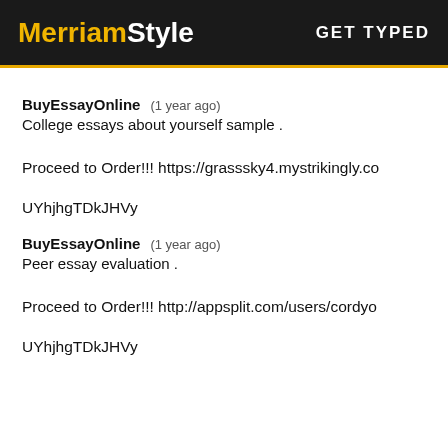MerriamStyle  GET TYPED
BuyEssayOnline  (1 year ago)
College essays about yourself sample .
Proceed to Order!!! https://grasssky4.mystrikingly.co...
UYhjhgTDkJHVy
BuyEssayOnline  (1 year ago)
Peer essay evaluation .
Proceed to Order!!! http://appsplit.com/users/cordyo...
UYhjhgTDkJHVy